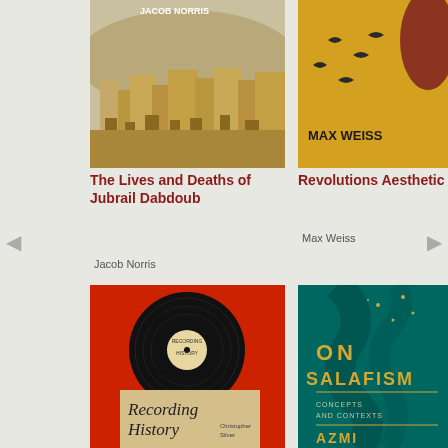[Figure (illustration): Book cover: The Lives and Deaths of Jubrail Dabdoub by Jacob Norris — shows an aerial view of an ancient Middle Eastern city with tan and brown adobe buildings]
[Figure (illustration): Book cover: Revolutions Aesthetic by Max Weiss — yellow background with dark bird silhouettes and a reddish-brown figure, author name MAX WEISS in bold]
The Lives and Deaths of Jubrail Dabdoub
Jacob Norris
Revolutions Aesthetic
Max Weiss
[Figure (illustration): Book cover: Recording History by Christopher Silver — red background with a black vinyl record and a tan envelope/sleeve with stylized text]
[Figure (illustration): Book cover: On Salafism: Concepts and Contexts by Azmi — teal/dark green background with abstract figure and gold text]